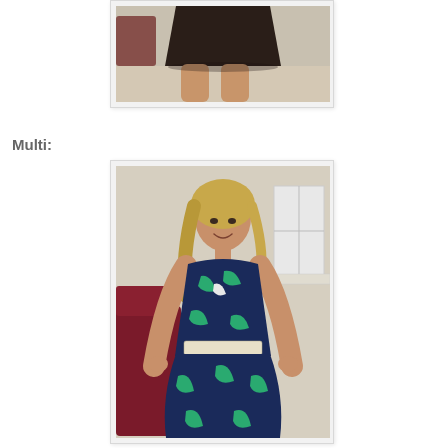[Figure (photo): Cropped photo showing lower half of a person wearing a dark brown/chocolate skirt and bare legs, standing on a light carpet floor with a dark red couch visible in the background.]
Multi:
[Figure (photo): Full-length photo of a smiling blonde woman wearing a multicolored sleeveless maxi dress with navy, teal/green, white, and black abstract pattern, hands on hips, standing in a room with beige walls, a window, and a dark red/maroon chair visible.]